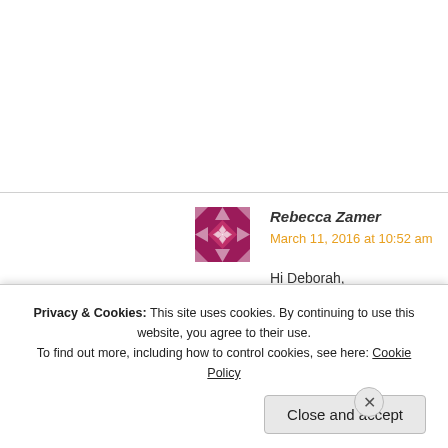[Figure (illustration): Purple/maroon quilt-pattern avatar icon for user Rebecca Zamer]
Rebecca Zamer
March 11, 2016 at 10:52 am
Hi Deborah,
We were so moved by your story
for InsideEdition.com. Could you p
★ Like
[Figure (illustration): Red/maroon partial avatar icon for second commenter Valerie]
Valerie
Privacy & Cookies: This site uses cookies. By continuing to use this website, you agree to their use.
To find out more, including how to control cookies, see here: Cookie Policy
Close and accept